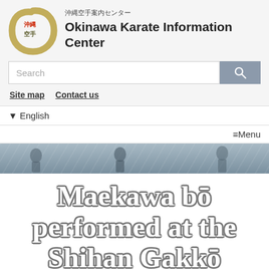[Figure (logo): Okinawa Karate logo - circular brushstroke with Japanese characters inside]
沖縄空手案内センター
Okinawa Karate Information Center
[Figure (other): Search bar with magnifying glass button]
Site map   Contact us
▼ English
≡Menu
[Figure (photo): Banner photo strip of karate practitioners]
Maekawa bō performed at the Shihan Gakkō
2017/10/14